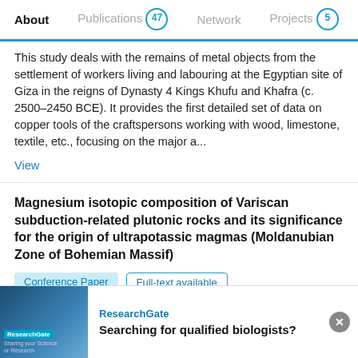About  Publications 47  Network  Projects 5
This study deals with the remains of metal objects from the settlement of workers living and labouring at the Egyptian site of Giza in the reigns of Dynasty 4 Kings Khufu and Khafra (c. 2500–2450 BCE). It provides the first detailed set of data on copper tools of the craftspersons working with wood, limestone, textile, etc., focusing on the major a...
View
Magnesium isotopic composition of Variscan subduction-related plutonic rocks and its significance for the origin of ultrapotassic magmas (Moldanubian Zone of Bohemian Massif)
Conference Paper  Full-text available
Jan 2021
Advertisement
Voitech Janousek  Yulia V. Erban Kochergina  A. V.
ResearchGate
Searching for qualified biologists?